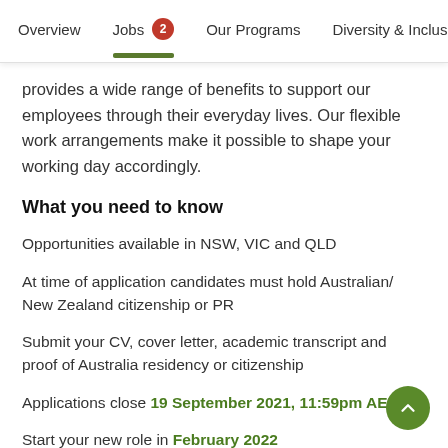Overview  Jobs 2  Our Programs  Diversity & Inclusion
provides a wide range of benefits to support our employees through their everyday lives. Our flexible work arrangements make it possible to shape your working day accordingly.
What you need to know
Opportunities available in NSW, VIC and QLD
At time of application candidates must hold Australian/ New Zealand citizenship or PR
Submit your CV, cover letter, academic transcript and proof of Australia residency or citizenship
Applications close 19 September 2021, 11:59pm AEDT
Start your new role in February 2022